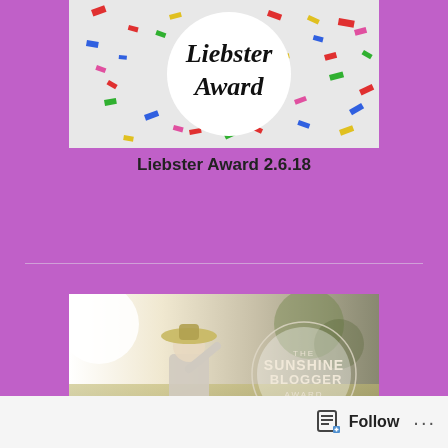[Figure (illustration): Liebster Award image showing a white circle with 'Liebster Award' text in brush script on a background of colorful confetti pieces (red, blue, green, yellow, pink)]
Liebster Award 2.6.18
[Figure (photo): Sunshine Blogger Award image showing a woman from behind holding a hat in a sunny outdoor field, with a circular badge reading 'THE SUNSHINE BLOGGER AWARD' overlaid on the right side]
Follow